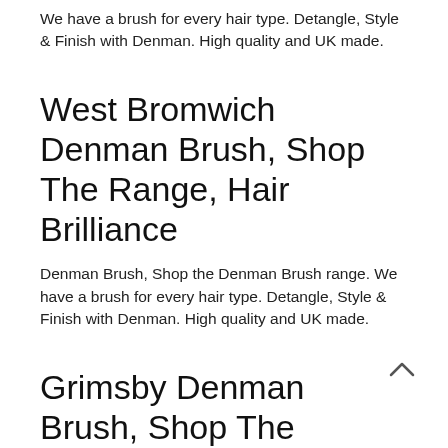We have a brush for every hair type. Detangle, Style & Finish with Denman. High quality and UK made.
West Bromwich Denman Brush, Shop The Range, Hair Brilliance
Denman Brush, Shop the Denman Brush range. We have a brush for every hair type. Detangle, Style & Finish with Denman. High quality and UK made.
Grimsby Denman Brush, Shop The Range, Hair Brilliance
Denman Brush, Shop the Denman Brush ran We have a brush for every hair type. Detang Style & Finish with Denman. High quality and UK